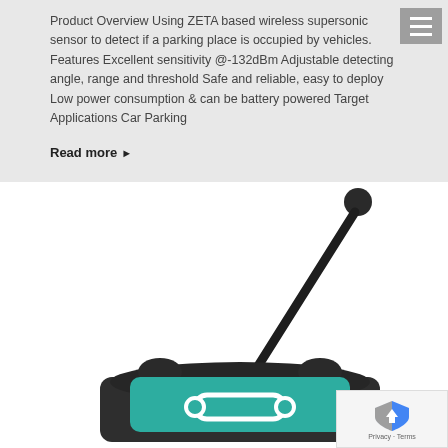Product Overview Using ZETA based wireless supersonic sensor to detect if a parking place is occupied by vehicles. Features Excellent sensitivity @-132dBm Adjustable detecting angle, range and threshold Safe and reliable, easy to deploy Low power consumption & can be battery powered Target Applications Car Parking
Read more ▶
[Figure (photo): A ZETA-based wireless parking sensor device with a dark plastic body, a teal/green accent panel with a sensor icon, and a long black antenna extending diagonally upward to the right.]
[Figure (logo): reCAPTCHA privacy badge with blue and grey shield icon and 'Privacy - Terms' text.]